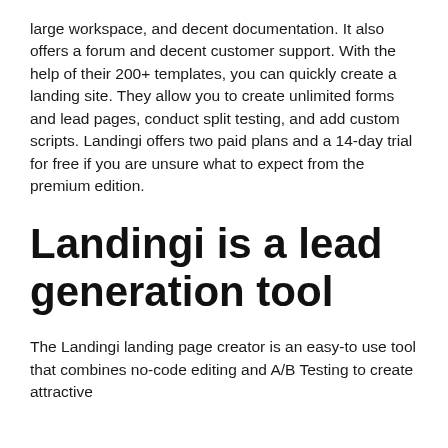large workspace, and decent documentation. It also offers a forum and decent customer support. With the help of their 200+ templates, you can quickly create a landing site. They allow you to create unlimited forms and lead pages, conduct split testing, and add custom scripts. Landingi offers two paid plans and a 14-day trial for free if you are unsure what to expect from the premium edition.
Landingi is a lead generation tool
The Landingi landing page creator is an easy-to use tool that combines no-code editing and A/B Testing to create attractive